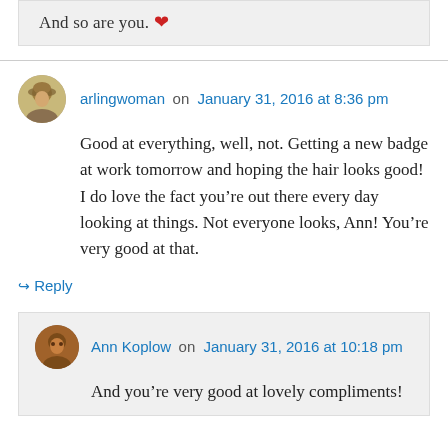And so are you. ❤
arlingwoman on January 31, 2016 at 8:36 pm
Good at everything, well, not. Getting a new badge at work tomorrow and hoping the hair looks good! I do love the fact you're out there every day looking at things. Not everyone looks, Ann! You're very good at that.
↳ Reply
Ann Koplow on January 31, 2016 at 10:18 pm
And you're very good at lovely compliments!